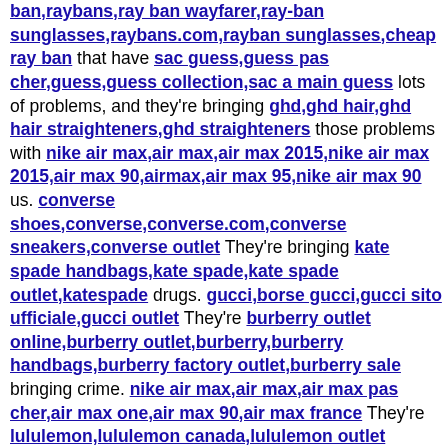ban,raybans,ray ban wayfarer,ray-ban sunglasses,raybans.com,rayban sunglasses,cheap ray ban that have sac guess,guess pas cher,guess,guess collection,sac a main guess lots of problems, and they're bringing ghd,ghd hair,ghd hair straighteners,ghd straighteners those problems with nike air max,air max,air max 2015,nike air max 2015,air max 90,airmax,air max 95,nike air max 90 us. converse shoes,converse,converse.com,converse sneakers,converse outlet They're bringing kate spade handbags,kate spade,kate spade outlet,katespade drugs. gucci,borse gucci,gucci sito ufficiale,gucci outlet They're burberry outlet online,burberry outlet,burberry,burberry handbags,burberry factory outlet,burberry sale bringing crime. nike air max,air max,air max pas cher,air max one,air max 90,air max france They're lululemon,lululemon canada,lululemon outlet canada,lululemon outlet online rapists. And some, I assume, are good people."A PGA spokeswoman said thomas sabo uk the organization tiffany and co jewelry,tiffany and co outlet,tiffany and co,tiffany's,tiffanys,tiffany co,tiffany jewelry had no further michael kors outlet online,michael kors,kors outlet,michael kors outlet,michael kors handbags,michael kors outlet online sale,michael kors handbags clearance,michael kors purses,michaelkors.com,michael kors bags,michael kors shoes,michaelkors,cheap michael kors comment when polo ralph lauren outlet online,ralph lauren,polo ralph,polo ralph lauren,polo ralph lauren outlet,ralph lauren outlet that